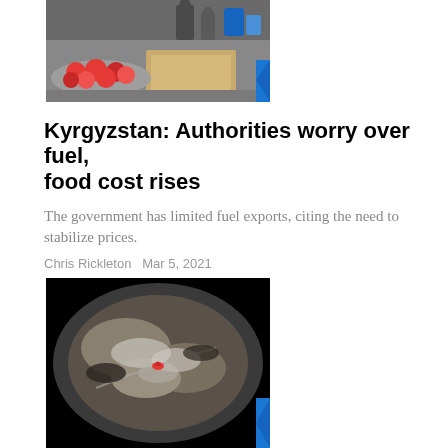[Figure (photo): Market scene with tomatoes in a metal bowl and cardboard boxes, people in background]
Kyrgyzstan: Authorities worry over fuel, food cost rises
The government has limited fuel exports, citing the need to stabilize prices.
Chris Rickleton  Mar 5, 2021
[Figure (photo): Dark aerial or satellite image with rocky terrain, small red object visible in center]